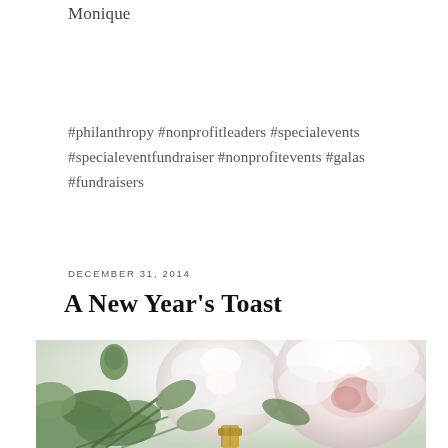Monique
#philanthropy #nonprofitleaders #specialevents #specialeventfundraiser #nonprofitevents #galas #fundraisers
DECEMBER 31, 2014
A New Year's Toast
[Figure (photo): Close-up photo of white peony flowers with green leaves and stems, with the gold foil top of a champagne bottle visible at the bottom. Soft, bright, white-toned photography.]